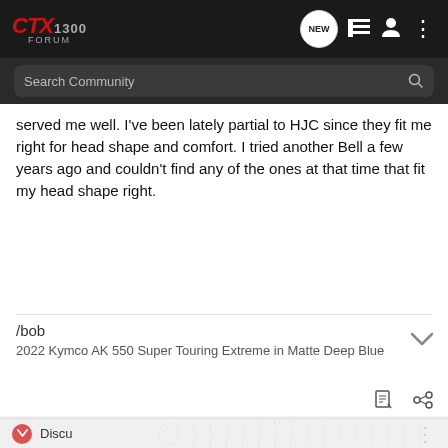CTX 1300 FORUM — Search Community
served me well. I've been lately partial to HJC since they fit me right for head shape and comfort. I tried another Bell a few years ago and couldn't find any of the ones at that time that fit my head shape right.
/bob
2022 Kymco AK 550 Super Touring Extreme in Matte Deep Blue
sleepngbear · Registered 🇺🇸
Joined Dec 1, 2013 · 2,179 Posts
Discu